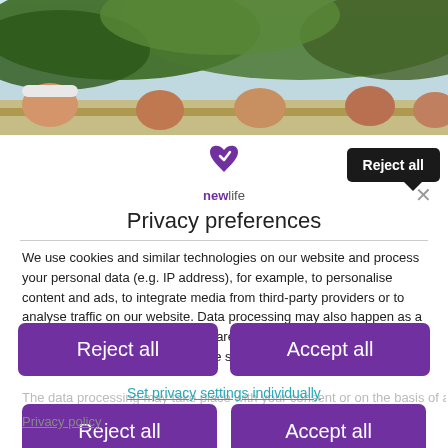[Figure (photo): Group of people peeking over a fence or wall, surrounded by trees and greenery]
Reject all
[Figure (logo): newlife logo with purple heart icon]
Privacy preferences
We use cookies and similar technologies on our website and process your personal data (e.g. IP address), for example, to personalise content and ads, to integrate media from third-party providers or to analyse traffic on our website. Data processing may also happen as a result of cookies being set. We share this data with third parties that we name in the privacy and cookie settings.
The data processing may take place with your consent or on the basis of a
Reject all
Accept all
Set privacy settings individually
Privacy policy